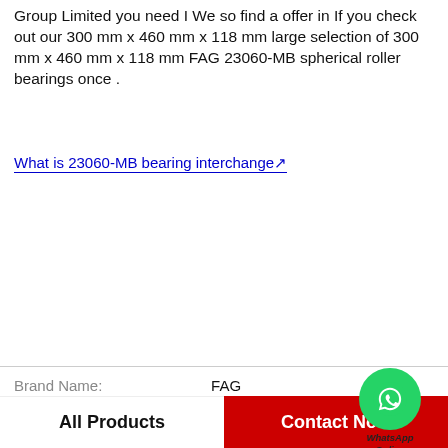Group Limited you need I We so find a offer in If you check out our 300 mm x 460 mm x 118 mm large selection of 300 mm x 460 mm x 118 mm FAG 23060-MB spherical roller bearings once .
What is 23060-MB bearing interchange↗
| Property | Value |
| --- | --- |
| Brand Name: | FAG |
| Model Number: | 23060-MB |
| B: | 2-7/32 in |
| standards met:: | UL, AFBMA, AGMA, ASME |
| d: | 50 mm |
| duty type:: | Extra Heavy Duty |
| radial static load capacity:: | 6588 lb |
[Figure (logo): WhatsApp Online green circle phone icon with WhatsApp Online label]
All Products
Contact Now